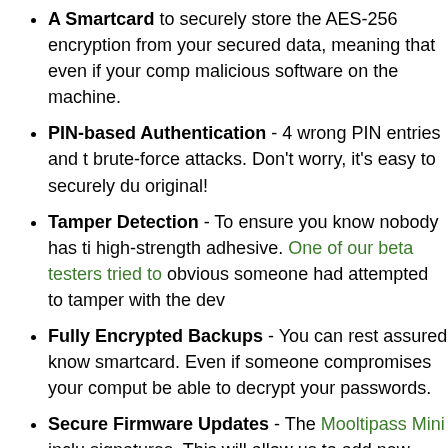A Smartcard to securely store the AES-256 encryption from your secured data, meaning that even if your comp malicious software on the machine.
PIN-based Authentication - 4 wrong PIN entries and t brute-force attacks. Don't worry, it's easy to securely du original!
Tamper Detection - To ensure you know nobody has ti high-strength adhesive. One of our beta testers tried to obvious someone had attempted to tamper with the dev
Fully Encrypted Backups - You can rest assured know smartcard. Even if someone compromises your comput be able to decrypt your passwords.
Secure Firmware Updates - The Mooltipass Mini inclu signatures. This will allow us to add new features to you
Portability
The Mooltipass Mini was designed with our users in mind. Ma